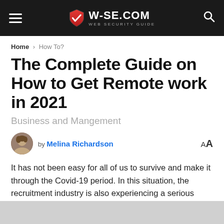W-SE.COM WEB SECURITY GUIDE
Home > How To?
The Complete Guide on How to Get Remote work in 2021
Business and Mangement
by Melina Richardson
It has not been easy for all of us to survive and make it through the Covid-19 period. In this situation, the recruitment industry is also experiencing a serious crisis. Because of the current pandemic, in-person recruiting has